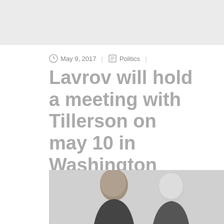[Figure (other): Gray advertisement banner at top of page]
May 9, 2017  |  Politics  |
Lavrov will hold a meeting with Tillerson on may 10 in Washington
[Figure (infographic): Social media share buttons: Facebook, Twitter, Google+, Pinterest, Reddit, WhatsApp, Share]
[Figure (photo): Photo of two men, presumably Lavrov and Tillerson, against light gray background]